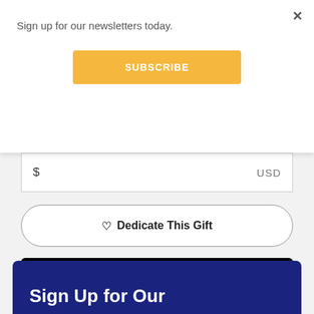Sign up for our newsletters today.
SUBSCRIBE
$ USD
♡ Dedicate This Gift
Donate with G Pay
or choose another payment method
Sign Up for Our